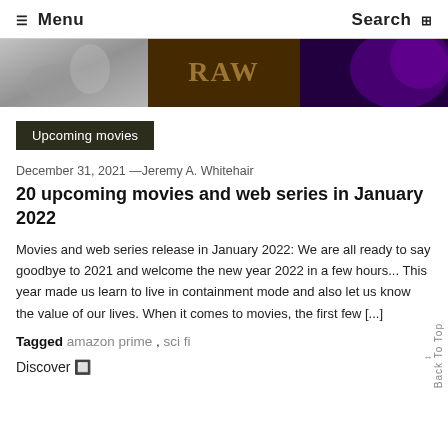☰ Menu   Search ⊞
[Figure (photo): Banner with three sections: left grayscale image, middle dark brown/gold metallic text logo, right dark purple abstract]
Upcoming movies
December 31, 2021 —Jeremy A. Whitehair
20 upcoming movies and web series in January 2022
Movies and web series release in January 2022: We are all ready to say goodbye to 2021 and welcome the new year 2022 in a few hours... This year made us learn to live in containment mode and also let us know the value of our lives. When it comes to movies, the first few [...]
Tagged amazon prime , sci fi
Discover 🔲